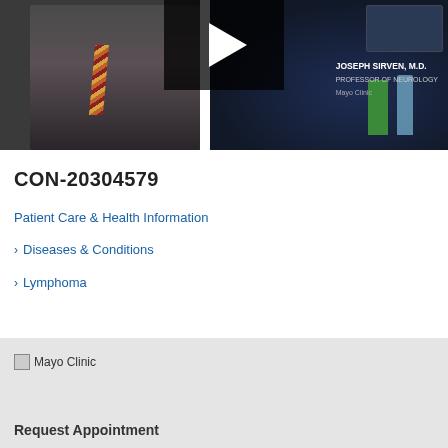[Figure (screenshot): Video thumbnail showing a man in a suit and tie on the left side, with a play button overlay in the center-top area, and text on the right reading 'JOSEPH SIRVEN, M.D.' 'PROFESSOR OF NEUROLOGY' 'Mayo Clinic' against a dark lab background]
CON-20304579
Patient Care & Health Information
Diseases & Conditions
Lymphoma
[Figure (logo): Mayo Clinic logo (broken image placeholder)]
Request Appointment